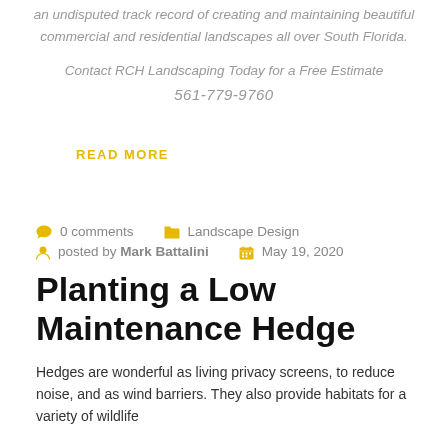an undisputed track record of creating and maintaining beautiful commercial and residential landscapes all over South Florida.
Contact RCH Landscaping Today for a Free Estimate
561-779-9760
READ MORE
0 comments   Landscape Design
posted by Mark Battalini   May 19, 2020
Planting a Low Maintenance Hedge
Hedges are wonderful as living privacy screens, to reduce noise, and as wind barriers. They also provide habitats for a variety of wildlife